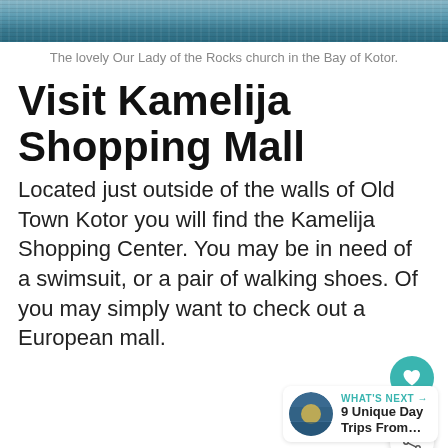[Figure (photo): Photo of water, likely the Bay of Kotor, cropped at top of page]
The lovely Our Lady of the Rocks church in the Bay of Kotor.
Visit Kamelija Shopping Mall
Located just outside of the walls of Old Town Kotor you will find the Kamelija Shopping Center. You may be in need of a swimsuit, or a pair of walking shoes. Of you may simply want to check out a European mall.